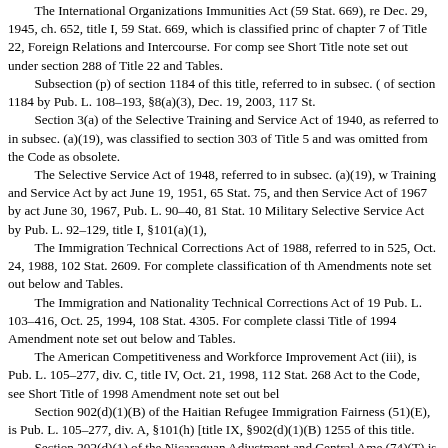The International Organizations Immunities Act (59 Stat. 669), re Dec. 29, 1945, ch. 652, title I, 59 Stat. 669, which is classified princ of chapter 7 of Title 22, Foreign Relations and Intercourse. For comp see Short Title note set out under section 288 of Title 22 and Tables.
Subsection (p) of section 1184 of this title, referred to in subsec. ( of section 1184 by Pub. L. 108–193, §8(a)(3), Dec. 19, 2003, 117 St.
Section 3(a) of the Selective Training and Service Act of 1940, as referred to in subsec. (a)(19), was classified to section 303 of Title 5 and was omitted from the Code as obsolete.
The Selective Service Act of 1948, referred to in subsec. (a)(19), w Training and Service Act by act June 19, 1951, 65 Stat. 75, and then Service Act of 1967 by act June 30, 1967, Pub. L. 90–40, 81 Stat. 10 Military Selective Service Act by Pub. L. 92–129, title I, §101(a)(1),
The Immigration Technical Corrections Act of 1988, referred to in 525, Oct. 24, 1988, 102 Stat. 2609. For complete classification of th Amendments note set out below and Tables.
The Immigration and Nationality Technical Corrections Act of 19 Pub. L. 103–416, Oct. 25, 1994, 108 Stat. 4305. For complete classi Title of 1994 Amendment note set out below and Tables.
The American Competitiveness and Workforce Improvement Act (iii), is Pub. L. 105–277, div. C, title IV, Oct. 21, 1998, 112 Stat. 268 Act to the Code, see Short Title of 1998 Amendment note set out bel
Section 902(d)(1)(B) of the Haitian Refugee Immigration Fairness (51)(E), is Pub. L. 105–277, div. A, §101(h) [title IX, §902(d)(1)(B) 1255 of this title.
Section 202(d)(1) of the Nicaraguan Adjustment and Central Ame (74)(T) is section 203(d)(1) of Pub. L. 105–100, which is